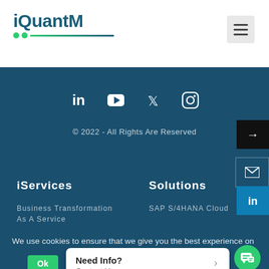[Figure (logo): iQuantM logo with teal text and green dot underline decoration]
[Figure (other): Hamburger menu button (three horizontal lines) in grey square]
[Figure (other): Social media icons: LinkedIn, YouTube, Twitter, Instagram in white on dark blue background]
© 2022 - All Rights Are Reserved
iServices
Solutions
Business Transformation As A Service
SAP S/4HANA Cloud
We use cookies to ensure that we give you the best experience on
Need Info? Contact Us